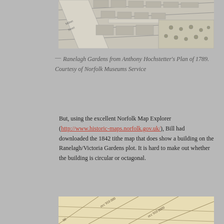[Figure (map): Historical map detail showing Ranelagh Gardens from Anthony Hochstetter's Plan of 1789, black and white engraved map with street grid and trees]
— Ranelagh Gardens from Anthony Hochstetter's Plan of 1789. Courtesy of Norfolk Museums Service
But, using the excellent Norfolk Map Explorer (http://www.historic-maps.norfolk.gov.uk/), Bill had downloaded the 1842 tithe map that does show a building on the Ranelagh/Victoria Gardens plot. It is hard to make out whether the building is circular or octagonal.
[Figure (map): Detail of the 1842 tithe map showing the Ranelagh/Victoria Gardens plot with handwritten labels, sepia/tan colored historical map]